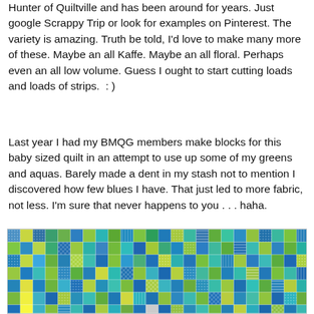Hunter of Quiltville and has been around for years. Just google Scrappy Trip or look for examples on Pinterest. The variety is amazing. Truth be told, I'd love to make many more of these. Maybe an all Kaffe. Maybe an all floral. Perhaps even an all low volume. Guess I ought to start cutting loads and loads of strips.  : )
Last year I had my BMQG members make blocks for this baby sized quilt in an attempt to use up some of my greens and aquas. Barely made a dent in my stash not to mention I discovered how few blues I have. That just led to more fabric, not less. I'm sure that never happens to you . . . haha.
[Figure (photo): A baby-sized patchwork quilt with many small squares in various shades of green, blue, aqua, teal, and yellow-green fabrics with different patterns (floral, polka dots, stripes, geometric).]